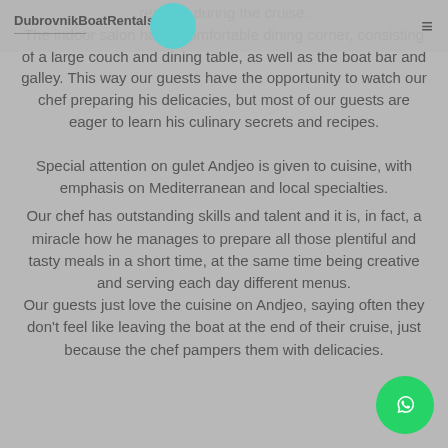DubrovnikBoatRentals
reading during the cruise.
The indoor salon has a comfortable dining corner, consisting of a large couch and dining table, as well as the boat bar and galley. This way our guests have the opportunity to watch our chef preparing his delicacies, but most of our guests are eager to learn his culinary secrets and recipes.
Special attention on gulet Andjeo is given to cuisine, with emphasis on Mediterranean and local specialties.
Our chef has outstanding skills and talent and it is, in fact, a miracle how he manages to prepare all those plentiful and tasty meals in a short time, at the same time being creative and serving each day different menus.
Our guests just love the cuisine on Andjeo, saying often they don't feel like leaving the boat at the end of their cruise, just because the chef pampers them with delicacies.